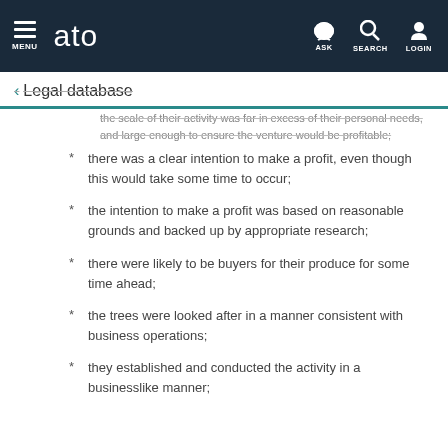MENU | ato | ASK | SEARCH | LOGIN
← Legal database
the scale of their activity was far in excess of their personal needs, and large enough to ensure the venture would be profitable;
there was a clear intention to make a profit, even though this would take some time to occur;
the intention to make a profit was based on reasonable grounds and backed up by appropriate research;
there were likely to be buyers for their produce for some time ahead;
the trees were looked after in a manner consistent with business operations;
they established and conducted the activity in a businesslike manner;